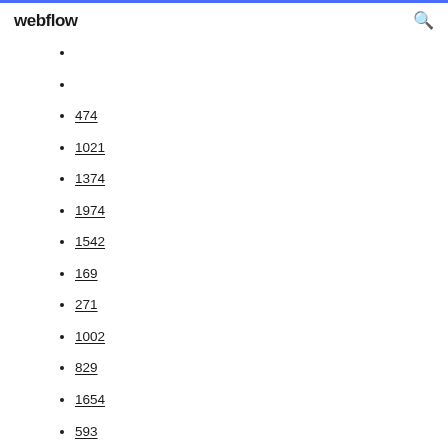webflow
474
1021
1374
1974
1542
169
271
1002
829
1654
593